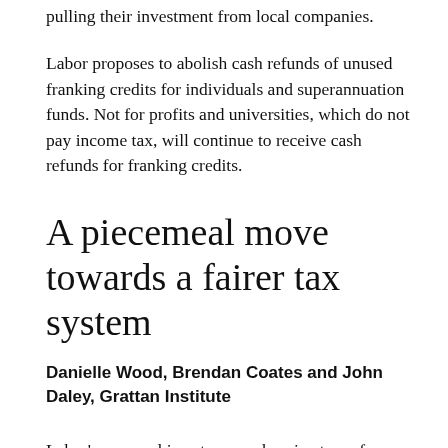pulling their investment from local companies.
Labor proposes to abolish cash refunds of unused franking credits for individuals and superannuation funds. Not for profits and universities, which do not pay income tax, will continue to receive cash refunds for franking credits.
A piecemeal move towards a fairer tax system
Danielle Wood, Brendan Coates and John Daley, Grattan Institute
Labor's proposal is not comprehensive tax reform. But in the absence of that holy grail, it is a piecemeal move towards a more equitable tax system. The